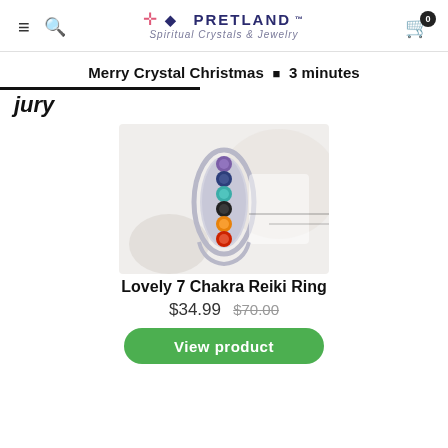Pretland — Spiritual Crystals & Jewelry (navigation header with logo, search, and cart)
Merry Crystal Christmas • 3 minutes
jury
[Figure (photo): A silver 7 Chakra Reiki ring with colorful gemstones arranged vertically on a white background]
Lovely 7 Chakra Reiki Ring
$34.99  $70.00
View product